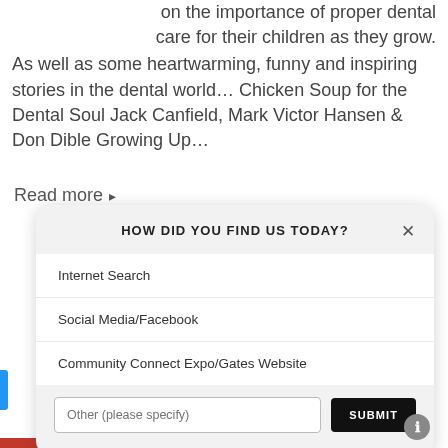on the importance of proper dental care for their children as they grow. As well as some heartwarming, funny and inspiring stories in the dental world… Chicken Soup for the Dental Soul Jack Canfield, Mark Victor Hansen & Don Dible Growing Up…
Read more ▸
[Figure (screenshot): A modal popup dialog with title 'HOW DID YOU FIND US TODAY?' and options: Internet Search, Social Media/Facebook, Community Connect Expo/Gates Website, and an Other text input with Submit button.]